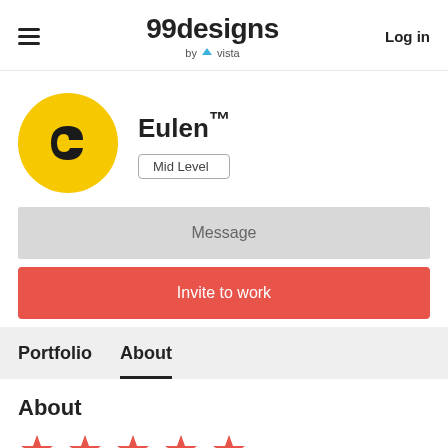99designs by vista | Log in
[Figure (logo): 99designs by vista logo with hamburger menu icon on left and Log in on right]
Eulen™
Mid Level
Message
Invite to work
Portfolio   About
About
[Figure (illustration): Five red/orange star rating icons in a row]